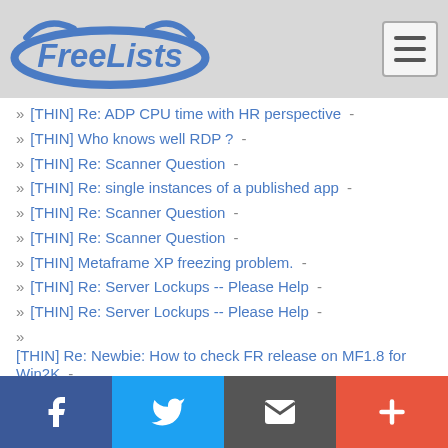FreeLists
[THIN] Re: ADP CPU time with HR perspective -
[THIN] Who knows well RDP ? -
[THIN] Re: Scanner Question -
[THIN] Re: single instances of a published app -
[THIN] Re: Scanner Question -
[THIN] Re: Scanner Question -
[THIN] Metaframe XP freezing problem. -
[THIN] Re: Server Lockups -- Please Help -
[THIN] Re: Server Lockups -- Please Help -
[THIN] Re: Newbie: How to check FR release on MF1.8 for Win2K -
[THIN] Re: Server Lockups -- Please Help -
[THIN] Re: Server Lockups -- Problem Solved? -
[THIN] Re: Server Lockups -- Please Help -
Facebook Twitter Email More